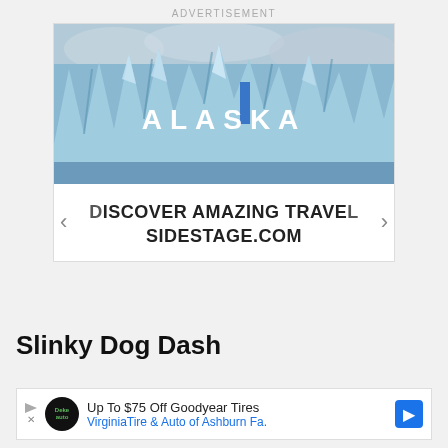ADVERTISEMENT
[Figure (photo): Advertisement banner showing a glacier scene with text 'ALASKA' overlaid in white, navigation arrows on sides, and text 'DISCOVER AMAZING TRAVEL SIDESTAGE.COM' below the image]
Slinky Dog Dash
[Figure (screenshot): Advertisement banner for Virginia Tire & Auto of Ashburn showing Goodyear tire offer: 'Up To $75 Off Goodyear Tires' with logo, play/close icons, and a blue map pin icon]